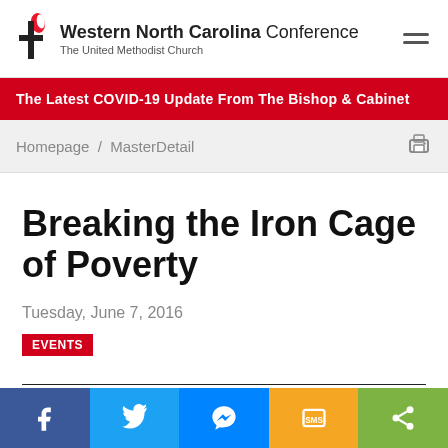Western North Carolina Conference | The United Methodist Church
The Latest COVID-19 Update From The Bishop & Cabinet
Homepage / MasterDetail
Breaking the Iron Cage of Poverty
Tuesday, June 7, 2016
EVENTS
Go To The Events Calendar